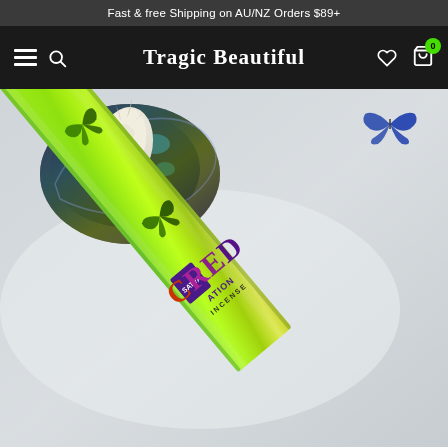Fast & free Shipping on AU/NZ Orders $89+
Tragic Beautiful — navigation bar with hamburger, search, logo, heart, and cart (0)
[Figure (photo): Product photo showing a green holographic iridescent incense box labeled 'Sacred Creation Incense' with butterfly motifs, leaning diagonally against a white surface next to a dark geode or crystal rock with a white sage bundle on top. The incense box is bright green with rainbow-like sheen and decorative butterfly cut-out designs. The brand appears to be Satya.]